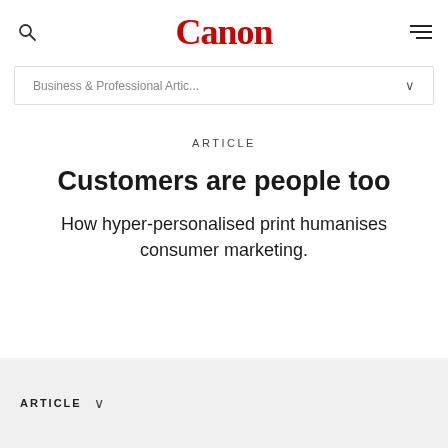Canon
Business & Professional Artic...
ARTICLE
Customers are people too
How hyper-personalised print humanises consumer marketing.
ARTICLE